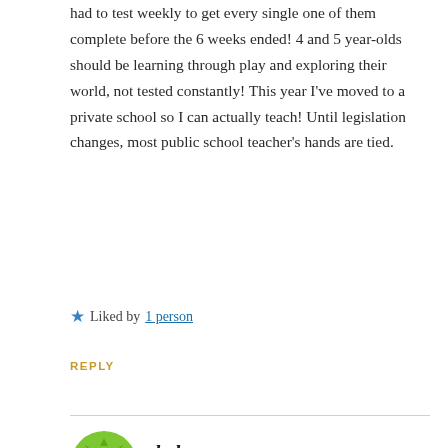had to test weekly to get every single one of them complete before the 6 weeks ended! 4 and 5 year-olds should be learning through play and exploring their world, not tested constantly! This year I've moved to a private school so I can actually teach! Until legislation changes, most public school teacher's hands are tied.
★ Liked by 1 person
REPLY
[Figure (illustration): Green snowflake/geometric avatar icon for user 'bob']
bob
NOVEMBER 25, 2018 AT 12:41 PM